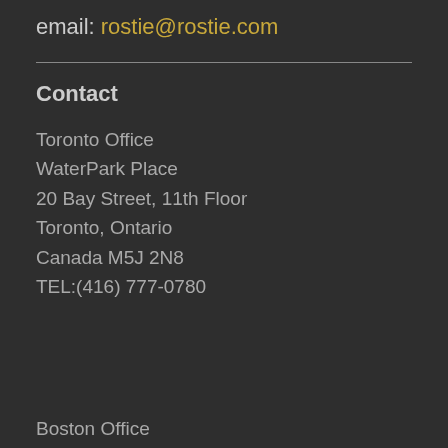email: rostie@rostie.com
Contact
Toronto Office
WaterPark Place
20 Bay Street, 11th Floor
Toronto, Ontario
Canada M5J 2N8
TEL:(416) 777-0780
Boston Office